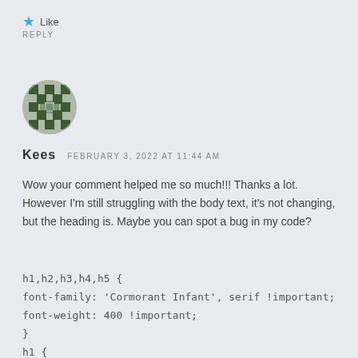★ Like
REPLY
[Figure (illustration): Circular avatar with a dark green and white geometric pattern resembling a stylized face or icon]
Kees   FEBRUARY 3, 2022 AT 11:44 AM
Wow your comment helped me so much!!! Thanks a lot. However I'm still struggling with the body text, it's not changing, but the heading is. Maybe you can spot a bug in my code?
h1,h2,h3,h4,h5 {
font-family: 'Cormorant Infant', serif !important;
font-weight: 400 !important;
}
h1 {
line-height:34px !important;